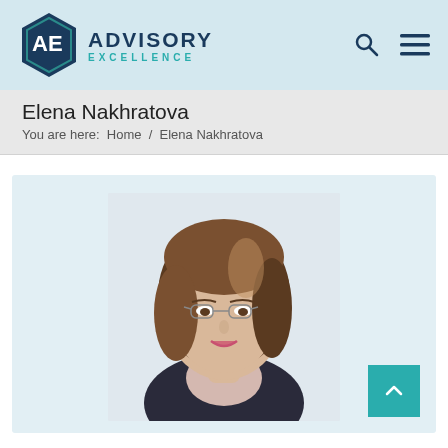[Figure (logo): Advisory Excellence logo — hexagon badge with AE letters and text ADVISORY EXCELLENCE]
Advisory Excellence — navigation header with search and menu icons
Elena Nakhratova
You are here:  Home  /  Elena Nakhratova
[Figure (photo): Professional headshot of Elena Nakhratova — a woman with brown hair and glasses wearing a dark jacket, seated against a light background]